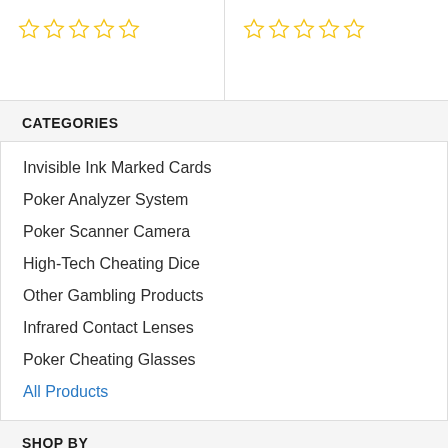[Figure (other): Two empty 5-star rating rows (yellow outlined stars, no fill)]
CATEGORIES
Invisible Ink Marked Cards
Poker Analyzer System
Poker Scanner Camera
High-Tech Cheating Dice
Other Gambling Products
Infrared Contact Lenses
Poker Cheating Glasses
All Products
SHOP BY
BRANDS